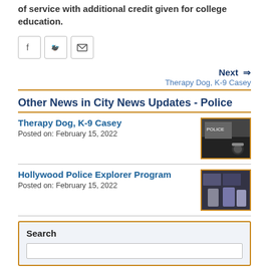of service with additional credit given for college education.
[Figure (other): Social share buttons: Facebook, Twitter, Email]
Next ⇒ Therapy Dog, K-9 Casey
Other News in City News Updates - Police
Therapy Dog, K-9 Casey
Posted on: February 15, 2022
[Figure (photo): Photo of a therapy dog next to a police car]
Hollywood Police Explorer Program
Posted on: February 15, 2022
[Figure (photo): Photo of people in a room with screens, police explorer program]
Search